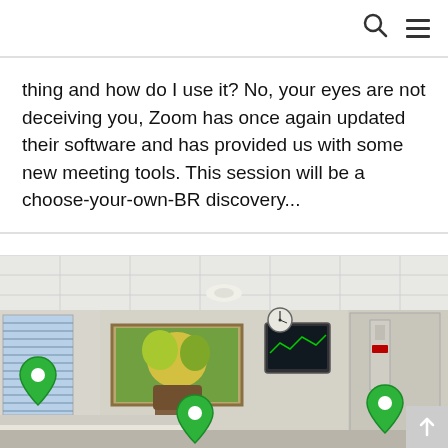thing and how do I use it? No, your eyes are not deceiving you, Zoom has once again updated their software and has provided us with some new meeting tools. This session will be a choose-your-own-BR discovery...
[Figure (photo): Interior of a hospital patient room showing a hospital bed, medical equipment on the wall, a wall-mounted monitor, a clock, a framed painting of flowers, a window with vertical blinds, and green location pin icons overlaid on the image.]